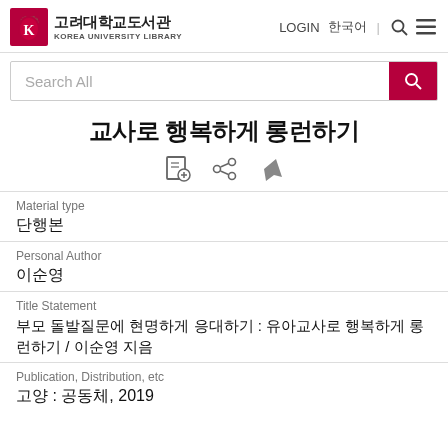고려대학교도서관 KOREA UNIVERSITY LIBRARY | LOGIN 한국어 🔍 ≡
Search All
교사로 행복하게 롱런하기
Material type
단행본
Personal Author
이순영
Title Statement
부모 돌발질문에 현명하게 응대하기 : 유아교사로 행복하게 롱런하기 / 이순영 지음
Publication, Distribution, etc
고양 :  공동체,  2019